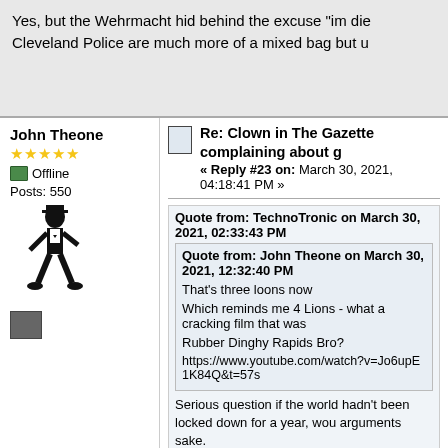Yes, but the Wehrmacht hid behind the excuse "im die Cleveland Police are much more of a mixed bag but u
John Theone
★★★★★
Offline
Posts: 550
Re: Clown in The Gazette complaining about g
« Reply #23 on: March 30, 2021, 04:18:41 PM »
Quote from: TechnoTronic on March 30, 2021, 02:33:43 PM
Quote from: John Theone on March 30, 2021, 12:32:40 PM
That's three loons now
Which reminds me 4 Lions - what a cracking film that was
Rubber Dinghy Rapids Bro?
https://www.youtube.com/watch?v=Jo6upE1K84Q&t=57s
Serious question if the world hadn't been locked down for a year, wou arguments sake.
Take any fucking thing as long as its free
I even drink the free Fosters at the Riverside
[Figure (illustration): Three pixel-art beer mug emojis in a row]